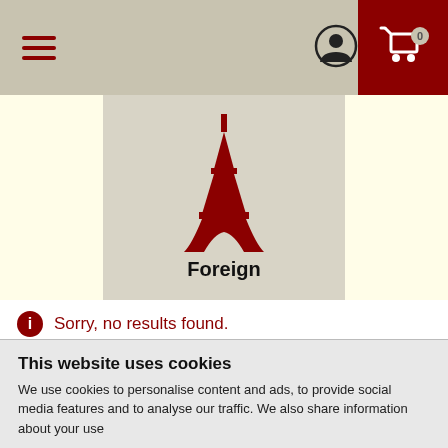Navigation header with hamburger menu, user icon, and cart icon
[Figure (logo): Eiffel Tower silhouette icon in dark red on a beige/tan background, with the label 'Foreign' below it in bold black text]
Sorry, no results found.
This website uses cookies
We use cookies to personalise content and ads, to provide social media features and to analyse our traffic. We also share information about your use